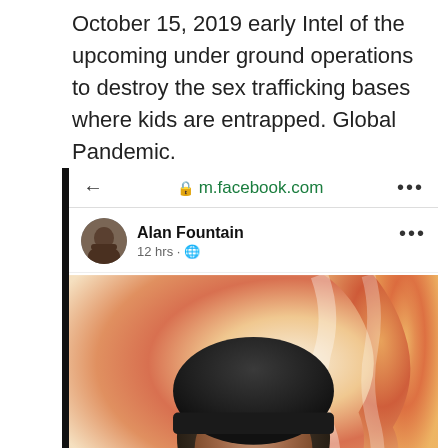October 15, 2019 early Intel of the upcoming under ground operations to destroy the sex trafficking bases where kids are entrapped. Global Pandemic.
[Figure (screenshot): Screenshot of a Facebook mobile post by Alan Fountain, showing a browser bar with m.facebook.com URL (green lock icon), the user's profile picture and name 'Alan Fountain', posted '12 hrs' ago, followed by a video thumbnail showing a person wearing a dark beanie hat against a colorful flame-like background.]